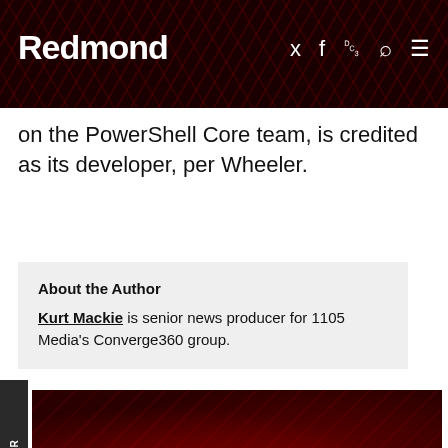Redmond
on the PowerShell Core team, is credited as its developer, per Wheeler.
About the Author
Kurt Mackie is senior news producer for 1105 Media's Converge360 group.
[Figure (other): Featured banner with dark red wave background and white bold 'Featured' text]
Microsoft Describes 'MagicWeb' Attacks Using Active Directory